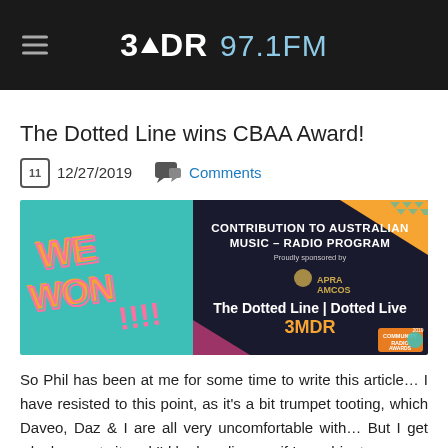3MDR 97.1FM
The Dotted Line wins CBAA Award!
12/27/2019   Comments
[Figure (photo): Award announcement image: teal background with pink text 'WE WON!!!!' on left, dark background on right with text 'CONTRIBUTION TO AUSTRALIAN MUSIC - RADIO PROGRAM, Proudly sponsored by APRA AMCOS, The Dotted Line | Dotted Live 3MDR' and Community Radio Awards badge.]
So Phil has been at me for some time to write this article… I have resisted to this point, as it's a bit trumpet tooting, which Daveo, Daz & I are all very uncomfortable with… But I get why he wants it and I'd be hassling me if I was him too…